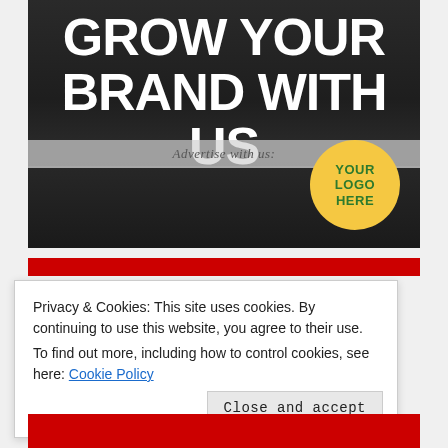[Figure (illustration): Dark banner advertisement image with city street background showing text 'GROW YOUR BRAND WITH US', an italicized 'Advertise with us:' strip, and a yellow circular logo placeholder reading 'YOUR LOGO HERE' in green text.]
Privacy & Cookies: This site uses cookies. By continuing to use this website, you agree to their use.
To find out more, including how to control cookies, see here: Cookie Policy